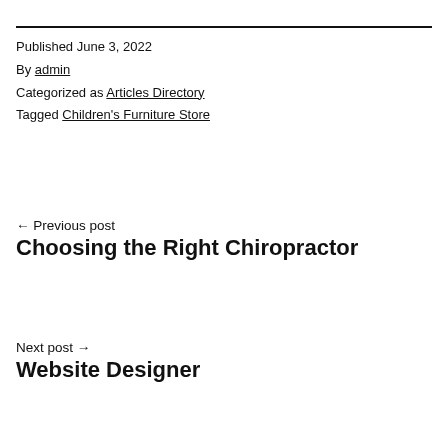Published June 3, 2022
By admin
Categorized as Articles Directory
Tagged Children's Furniture Store
← Previous post
Choosing the Right Chiropractor
Next post →
Website Designer